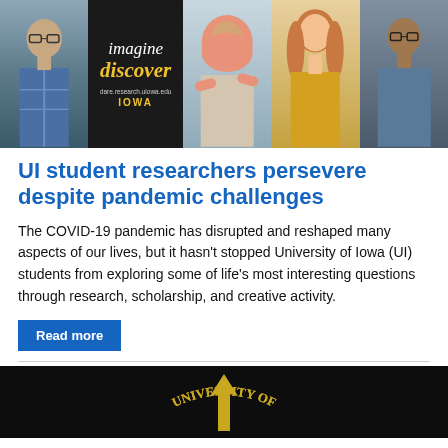[Figure (photo): Top image strip showing five panels: man in plaid shirt, black panel with 'imagine discover dare.research.uiowa.edu IOWA' text, woman in pink hijab, woman in gold/yellow top, man in blue shirt with glasses]
UI student researchers persevere despite pandemic challenges
The COVID-19 pandemic has disrupted and reshaped many aspects of our lives, but it hasn't stopped University of Iowa (UI) students from exploring some of life's most interesting questions through research, scholarship, and creative activity.
Read more
[Figure (photo): Bottom image showing University of Iowa seal/logo on black background with yellow text 'UNIVERSITY OF' visible in an arc]